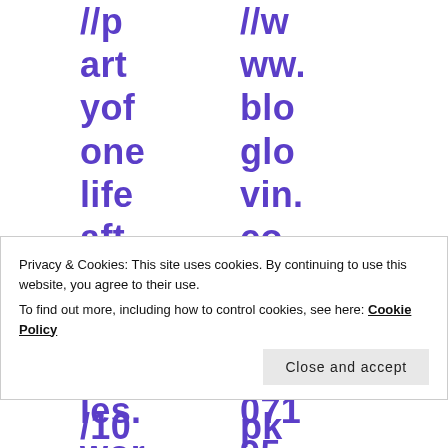//part yofonelif afterdeath.files.wor dpr /10
//www.blo glovin. co m/ blog/2 071 95 81/ pk
Privacy & Cookies: This site uses cookies. By continuing to use this website, you agree to their use.
To find out more, including how to control cookies, see here: Cookie Policy
Close and accept